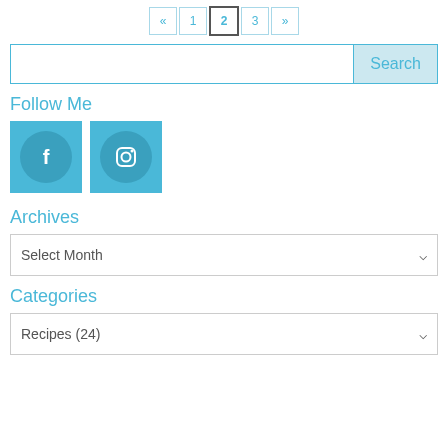« 1 2 3 »
Search
Follow Me
[Figure (other): Facebook and Instagram social media icon buttons as blue squares with white icons]
Archives
Select Month
Categories
Recipes  (24)